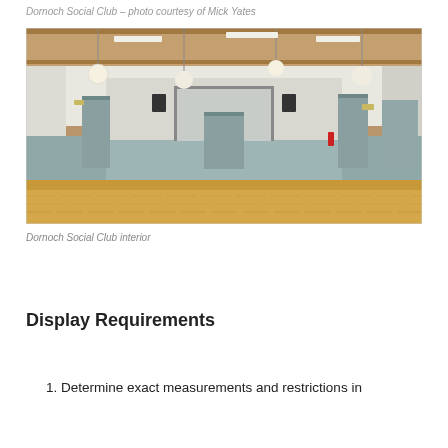Dornoch Social Club – photo courtesy of Mick Yates
[Figure (photo): Interior of Dornoch Social Club showing a large open room with wooden floor, pale blue-grey lower walls, globe pendant lights, fluorescent ceiling lights, wooden ceiling, and grey doors along the back wall.]
Dornoch Social Club interior
Display Requirements
1. Determine exact measurements and restrictions in